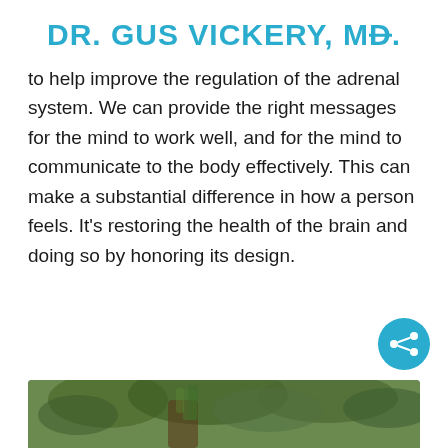DR. GUS VICKERY, MD.
to help improve the regulation of the adrenal system. We can provide the right messages for the mind to work well, and for the mind to communicate to the body effectively. This can make a substantial difference in how a person feels. It's restoring the health of the brain and doing so by honoring its design.
[Figure (other): Share button icon (teal circle with share/network icon)]
[Figure (photo): Partial photo at bottom of page showing outdoor scene with trees/foliage, person visible]